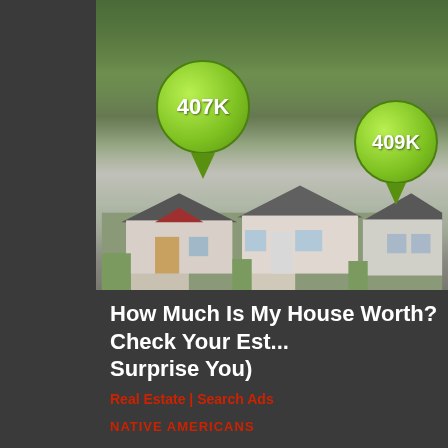[Figure (photo): Aerial view of suburban neighborhood with houses, green trees, and two green map pin markers showing property values of 407K and 409K]
How Much Is My House Worth? Check Your Est... Surprise You)
Real Estate | Search Ads
NATIVE AMERICANS